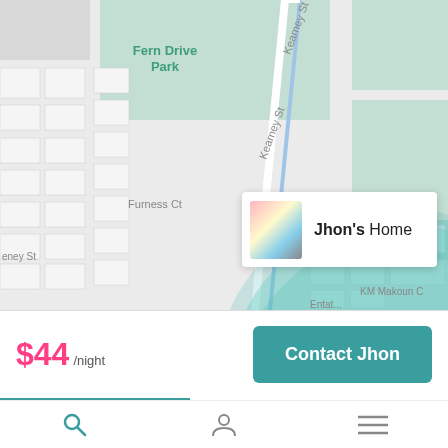[Figure (map): Street map showing Fern Drive Park, Furness Ct, Kearney St, Entabeni Dr, KM Makoun street areas with green park areas, road grid, and a teal circular radius indicator centered on a location marker popup showing Jhon's Home]
Jhon's Home
$44/night
Contact Jhon
[Figure (other): Bottom navigation tab bar with search (magnifying glass), profile (person icon), and menu (hamburger) icons]